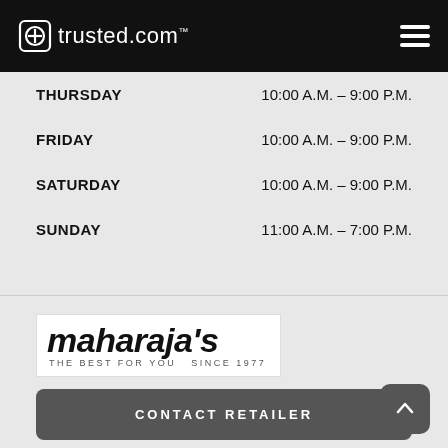trusted.com
THURSDAY   10:00 A.M. – 9:00 P.M.
FRIDAY   10:00 A.M. – 9:00 P.M.
SATURDAY   10:00 A.M. – 9:00 P.M.
SUNDAY   11:00 A.M. – 7:00 P.M.
[Figure (logo): maharaja's THE BEST FOR YOU SINCE 1977 logo]
CONTACT RETAILER
MAHARAJA'S OF INDIA INC
105 West 23rd Street